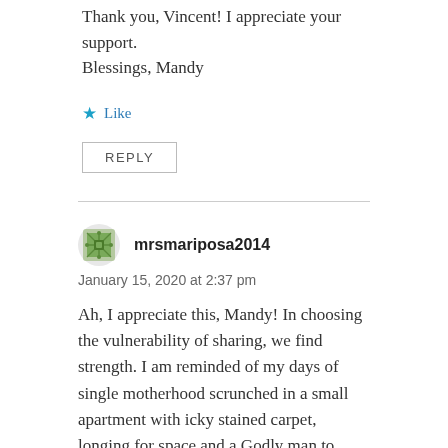Thank you, Vincent! I appreciate your support. Blessings, Mandy
★ Like
REPLY
mrsmariposa2014
January 15, 2020 at 2:37 pm
Ah, I appreciate this, Mandy! In choosing the vulnerability of sharing, we find strength. I am reminded of my days of single motherhood scrunched in a small apartment with icky stained carpet, longing for space and a Godly man to share it with. I spent some of those years praying, but, a fair amount also grumbling in discontent, to be truthful! I forgot too often He was there in our midst, making